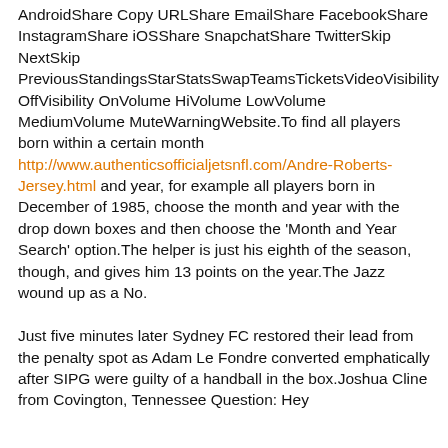AndroidShare Copy URLShare EmailShare FacebookShare InstagramShare iOSShare SnapchatShare TwitterSkip NextSkip PreviousStandingsStarStatsSwapTeamsTicketsVideoVisibility OffVisibility OnVolume HiVolume LowVolume MediumVolume MuteWarningWebsite.To find all players born within a certain month http://www.authenticsofficialjetsnfl.com/Andre-Roberts-Jersey.html and year, for example all players born in December of 1985, choose the month and year with the drop down boxes and then choose the 'Month and Year Search' option.The helper is just his eighth of the season, though, and gives him 13 points on the year.The Jazz wound up as a No.
Just five minutes later Sydney FC restored their lead from the penalty spot as Adam Le Fondre converted emphatically after SIPG were guilty of a handball in the box.Joshua Cline from Covington, Tennessee Question: Hey